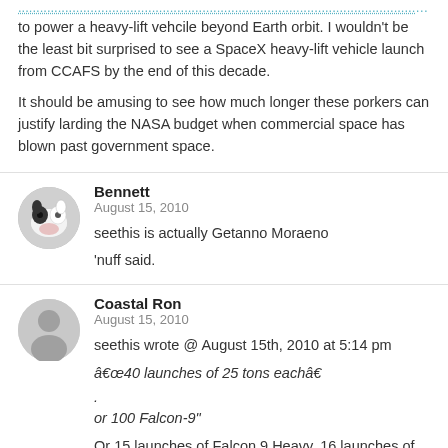to power a heavy-lift vehcile beyond Earth orbit. I wouldn't be the least bit surprised to see a SpaceX heavy-lift vehicle launch from CCAFS by the end of this decade.
It should be amusing to see how much longer these porkers can justify larding the NASA budget when commercial space has blown past government space.
Bennett
August 15, 2010
seethis is actually Getanno Moraeno
'nuff said.
Coastal Ron
August 15, 2010
seethis wrote @ August 15th, 2010 at 5:14 pm
â€œâ€40 launches of 25 tons eachâ€
or 100 Falcon-9"
Or 15 launches of Falcon 9 Heavy, 16 launches of Atlas V Heavy, or 20 launches of Delta IV Heavy ($6B total).